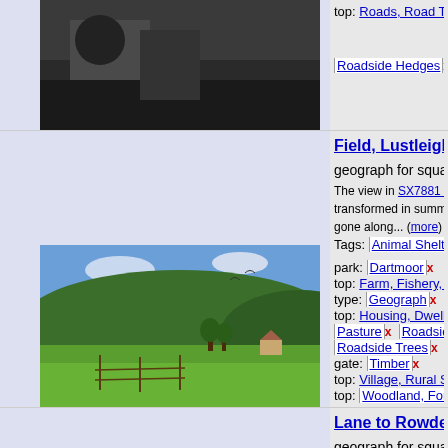[Figure (photo): Top thumbnail photo (partially visible, dark/shadowed scene)]
top: Roads, Road Transport
Roadside Hedges x   Roads
Field, Lustleigh by Dere geograph for square SX7
The view in SX7881 : View in L transformed in summer. Trees gone along... (more)
Tags: Animal Shelter x   nati
park: Dartmoor x
top: Farm, Fishery, Market G
type: Geograph x   Houses x
top: Housing, Dwellings x   to
[Figure (photo): Landscape photo showing green fields, trees, and hills under blue sky at Lustleigh]
Pasture x   Roadside Hedge
Roadside Trees x   fence: Ti
gate: Timber x
top: Village, Rural Settleme
top: Woodland, Forest x   W
Lane to Rowden by Der geograph for square SS4